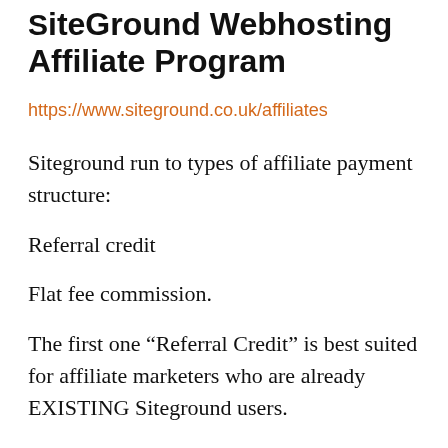SiteGround Webhosting Affiliate Program
https://www.siteground.co.uk/affiliates
Siteground run to types of affiliate payment structure:
Referral credit
Flat fee commission.
The first one “Referral Credit” is best suited for affiliate marketers who are already EXISTING Siteground users.
The way this works is, you’ll get up to 3 months